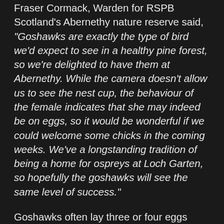Fraser Cormack, Warden for RSPB Scotland's Abernethy nature reserve said, "Goshawks are exactly the type of bird we'd expect to see in a healthy pine forest, so we're delighted to have them at Abernethy. While the camera doesn't allow us to see the nest cup, the behaviour of the female indicates that she may indeed be on eggs, so it would be wonderful if we could welcome some chicks in the coming weeks. We've a longstanding tradition of being a home for ospreys at Loch Garten, so hopefully the goshawks will see the same level of success."
Goshawks often lay three or four eggs which take approximately 5-6 weeks to hatch. Young birds remain in the nest for a further 6-7 weeks